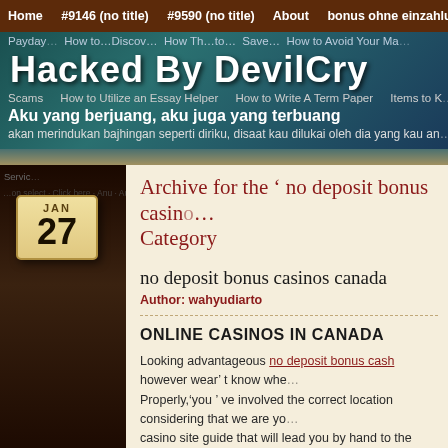Home   #9146 (no title)   #9590 (no title)   About   bonus ohne einzahlung   Essa…
Hacked By DevilCry
Payday…   How to…   How The to…   How to Avoid Your Ma…
Scams   How to Utilize an Essay Helper   How to Write A Term Paper   Items to K…
Aku yang berjuang, aku juga yang terbuang
akan merindukan bajhingan seperti diriku, disaat kau dilukai oleh dia yang kau an…
Servic…   …on select · Click here · Anu · Aumbig · Payment · …
Archive for the ' no deposit bonus casino Category
no deposit bonus casinos canada
Author: wahyudiarto
ONLINE CASINOS IN CANADA
Looking advantageous no deposit bonus cash however wear' t know whe… Properly,'you ' ve involved the correct location considering that we are yo… casino site guide that will lead you by hand to the greatest gambling ente… Canada.